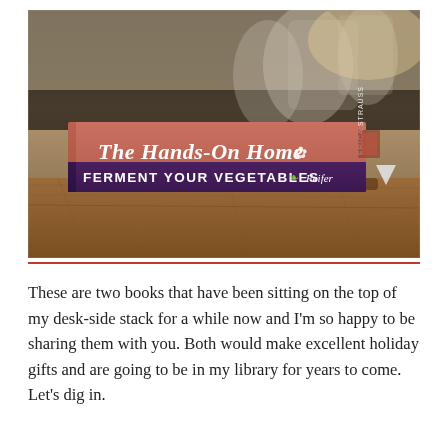[Figure (photo): Two books stacked on a wooden surface. The top book has a salmon/coral colored spine reading 'The Hands-On Home' by Erica Strauss. The bottom book has a dark purple spine reading 'Ferment Your Vegetables' by Feifer. Background shows blurred glass jars.]
These are two books that have been sitting on the top of my desk-side stack for a while now and I'm so happy to be sharing them with you. Both would make excellent holiday gifts and are going to be in my library for years to come. Let's dig in.